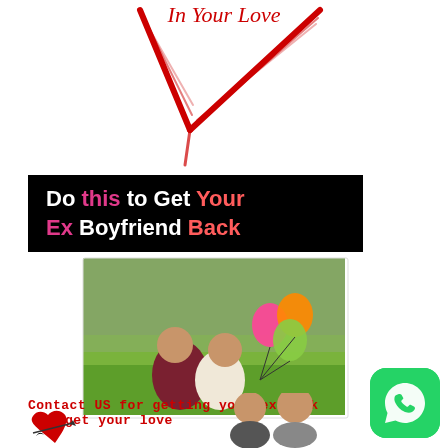[Figure (illustration): Red heart/checkmark logo with text 'In Your Love' at the top]
Do this to Get Your Ex Boyfriend Back
[Figure (photo): A couple sitting on grass kissing, woman holding colorful balloons]
Contact US for getting your ex-back get your love
[Figure (logo): WhatsApp icon - green rounded square with phone handset]
[Figure (illustration): Bottom decorative heart with arrow and couple silhouette]